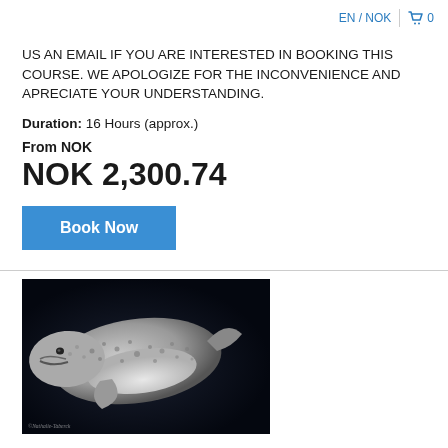EN / NOK  🛒 0
US AN EMAIL IF YOU ARE INTERESTED IN BOOKING THIS COURSE. WE APOLOGIZE FOR THE INCONVENIENCE AND APRECIATE YOUR UNDERSTANDING.
Duration: 16 Hours (approx.)
From NOK
NOK 2,300.74
Book Now
[Figure (photo): Underwater photograph of a whale shark or similar large marine animal with spotted/speckled skin, photographed against a dark background. Watermark reads '©Nathalie-Taberck' in bottom left corner.]